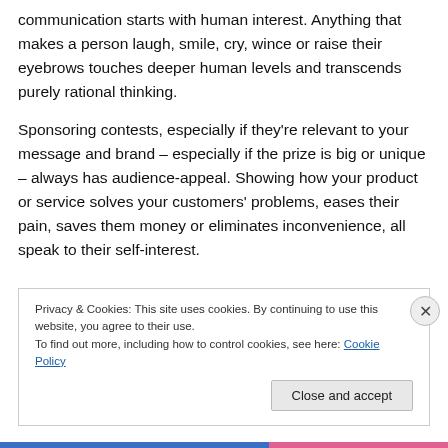communication starts with human interest. Anything that makes a person laugh, smile, cry, wince or raise their eyebrows touches deeper human levels and transcends purely rational thinking.
Sponsoring contests, especially if they're relevant to your message and brand – especially if the prize is big or unique – always has audience-appeal. Showing how your product or service solves your customers' problems, eases their pain, saves them money or eliminates inconvenience, all speak to their self-interest.
Privacy & Cookies: This site uses cookies. By continuing to use this website, you agree to their use. To find out more, including how to control cookies, see here: Cookie Policy